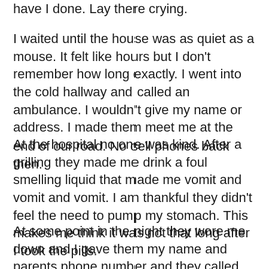have I done. Lay there crying.
I waited until the house was as quiet as a mouse. It felt like hours but I don't remember how long exactly. I went into the cold hallway and called an ambulance. I wouldn't give my name or address. I made them meet me at the end of our road. No cell phones back then.
At the hospital no one was kind. After a grilling they made me drink a foul smelling liquid that made me vomit and vomit and vomit. I am thankful they didn't feel the need to pump my stomach. This makes me think it was not that long after I took the pills.
At some point in the night they wore me down and I gave them my name and parents phone number and they called them.